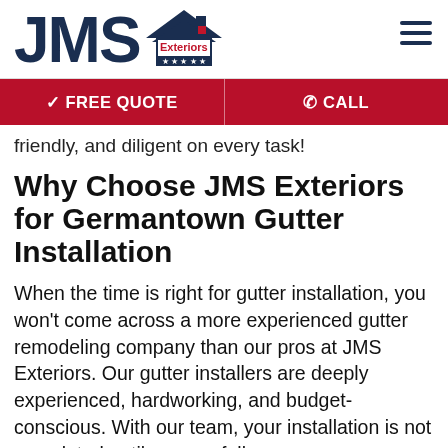[Figure (logo): JMS Exteriors logo with house/roof icon, red 'Exteriors' text, and five white stars on dark navy background strip]
✓ FREE QUOTE   ☎ CALL
friendly, and diligent on every task!
Why Choose JMS Exteriors for Germantown Gutter Installation
When the time is right for gutter installation, you won't come across a more experienced gutter remodeling company than our pros at JMS Exteriors. Our gutter installers are deeply experienced, hardworking, and budget-conscious. With our team, your installation is not completed until you are fully